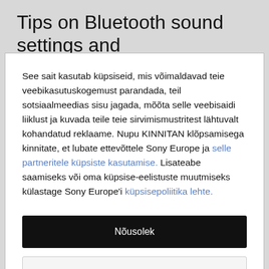Tips on Bluetooth sound settings and
See sait kasutab küpsiseid, mis võimaldavad teie veebikasutuskogemust parandada, teil sotsiaalmeedias sisu jagada, mõõta selle veebisaidi liiklust ja kuvada teile teie sirvimismustritest lähtuvalt kohandatud reklaame. Nupu KINNITAN klõpsamisega kinnitate, et lubate ettevõttele Sony Europe ja selle partneritele küpsiste kasutamise. Lisateabe saamiseks või oma küpsise-eelistuste muutmiseks külastage Sony Europe'i küpsisepoliitika lehte.
Nõusolek
Küpsiste Haldamine